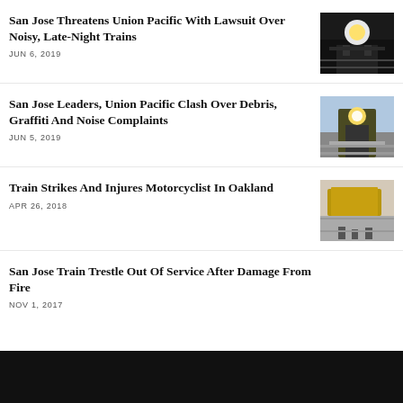San Jose Threatens Union Pacific With Lawsuit Over Noisy, Late-Night Trains
JUN 6, 2019
[Figure (photo): Night photo of a Union Pacific train with bright headlight]
San Jose Leaders, Union Pacific Clash Over Debris, Graffiti And Noise Complaints
JUN 5, 2019
[Figure (photo): Train locomotive approaching from far end of tracks]
Train Strikes And Injures Motorcyclist In Oakland
APR 26, 2018
[Figure (photo): Aerial view of train and people near tracks]
San Jose Train Trestle Out Of Service After Damage From Fire
NOV 1, 2017